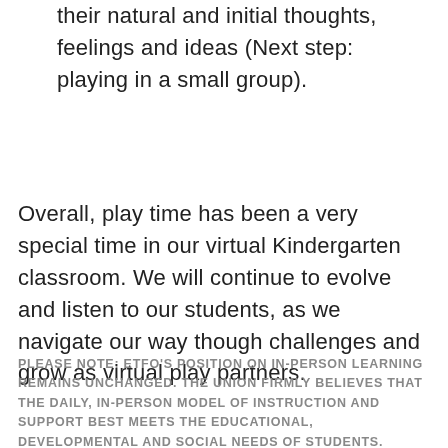their natural and initial thoughts, feelings and ideas (Next step: playing in a small group).
Overall, play time has been a very special time in our virtual Kindergarten classroom. We will continue to evolve and listen to our students, as we navigate our way though challenges and grow as virtual play partners.
PLEASE NOTE: ETFO'S POSITION ON IN-PERSON LEARNING REMAINS UNCHANGED. THE UNION FIRMLY BELIEVES THAT THE DAILY, IN-PERSON MODEL OF INSTRUCTION AND SUPPORT BEST MEETS THE EDUCATIONAL, DEVELOPMENTAL AND SOCIAL NEEDS OF STUDENTS. PROVIDES THE BEST EXPERIENCE FOR